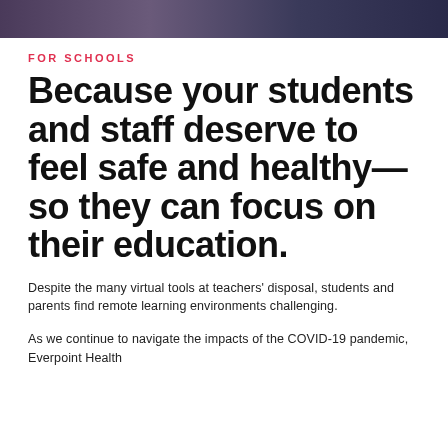[Figure (photo): Partial photo strip at top of page showing people, dark blue/purple tones]
FOR SCHOOLS
Because your students and staff deserve to feel safe and healthy— so they can focus on their education.
Despite the many virtual tools at teachers' disposal, students and parents find remote learning environments challenging.
As we continue to navigate the impacts of the COVID-19 pandemic, Everpoint Health